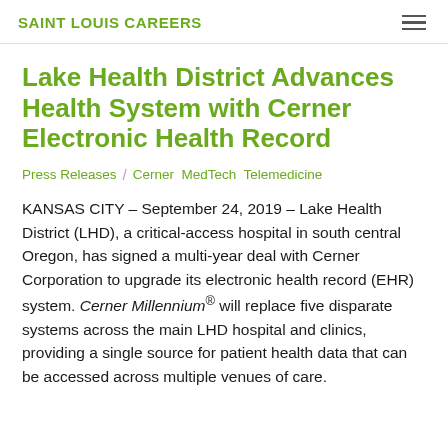SAINT LOUIS CAREERS
Lake Health District Advances Health System with Cerner Electronic Health Record
Press Releases / Cerner MedTech Telemedicine
KANSAS CITY – September 24, 2019 – Lake Health District (LHD), a critical-access hospital in south central Oregon, has signed a multi-year deal with Cerner Corporation to upgrade its electronic health record (EHR) system. Cerner Millennium® will replace five disparate systems across the main LHD hospital and clinics, providing a single source for patient health data that can be accessed across multiple venues of care.